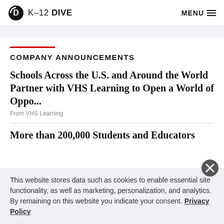K-12 DIVE  MENU
COMPANY ANNOUNCEMENTS
Schools Across the U.S. and Around the World Partner with VHS Learning to Open a World of Oppo...
From VHS Learning
More than 200,000 Students and Educators
This website stores data such as cookies to enable essential site functionality, as well as marketing, personalization, and analytics. By remaining on this website you indicate your consent. Privacy Policy